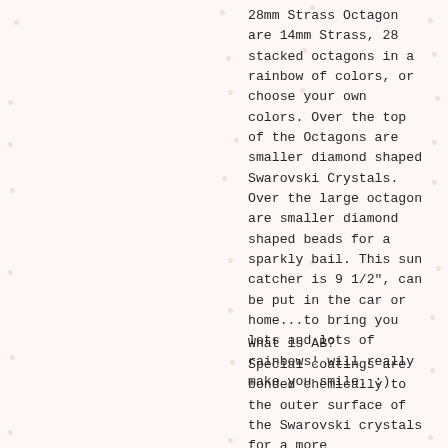28mm Strass Octagon are 14mm Strass, 28 stacked octagons in a rainbow of colors, or choose your own colors. Over the top of the Octagons are smaller diamond shaped Swarovski Crystals. Over the large octagon are smaller diamond shaped beads for a sparkly bail. This sun catcher is 9 1/2", can be put in the car or home...to bring you lots and lots of rainbows! will really make you smile. :)
What is AB?
Special coatings are bonded chemically to the outer surface of the Swarovski crystals for a more brilliant effect. The special effect...